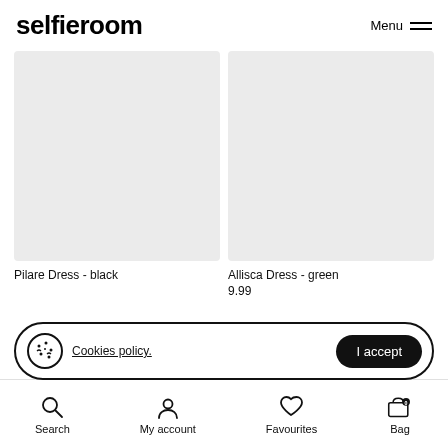selfieroom  Menu
[Figure (photo): Light gray product image placeholder for Pilare Dress - black]
[Figure (photo): Light gray product image placeholder for Allisca Dress - green]
Pilare Dress - black
Allisca Dress - green
9.99
Cookies policy.  I accept
Search  My account  Favourites  Bag